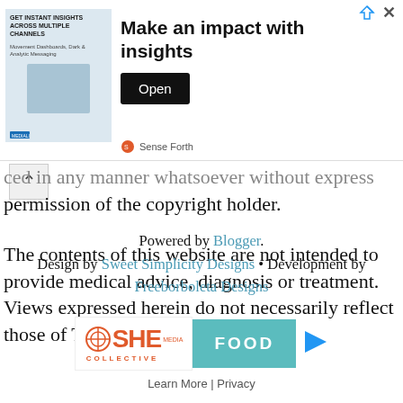[Figure (screenshot): Advertisement banner: 'Make an impact with insights' with an image of a woman and an Open button, Sense Forth branding, close/share icons at top right]
...ced in any manner whatsoever without express permission of the copyright holder.
The contents of this website are not intended to provide medical advice, diagnosis or treatment. Views expressed herein do not necessarily reflect those of TheIronYou or its staff.
Powered by Blogger. Design by Sweet Simplicity Designs • Development by Freeborboleta Designs
[Figure (screenshot): SHE Media Collective FOOD advertisement banner with Learn More and Privacy links]